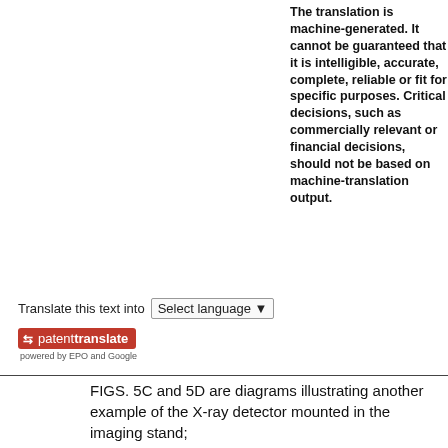[Figure (screenshot): Translate widget showing 'Translate this text into Select language' dropdown and patenttranslate badge powered by EPO and Google]
The translation is machine-generated. It cannot be guaranteed that it is intelligible, accurate, complete, reliable or fit for specific purposes. Critical decisions, such as commercially relevant or financial decisions, should not be based on machine-translation output.
FIGS. 5C and 5D are diagrams illustrating another example of the X-ray detector mounted in the imaging stand;
FIG. 6 is a diagram illustrating an example in which a portable X-ray detector is provided;
FIGS. 7A and 7B are diagrams illustrating another example;